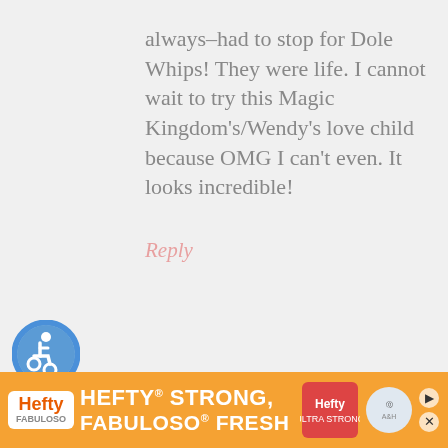always–had to stop for Dole Whips! They were life. I cannot wait to try this Magic Kingdom's/Wendy's love child because OMG I can't even. It looks incredible!
Reply
[Figure (illustration): Accessibility icon — blue circle with white wheelchair user symbol]
thedomesticrebel says
March 27, 2015 at 1:58 pm
Thanks so much Michelle! Every time I visit Disneyland I
[Figure (infographic): Hefty advertisement banner: orange background with Hefty and Fabuloso logos, text 'HEFTY STRONG, FABULOSO FRESH']